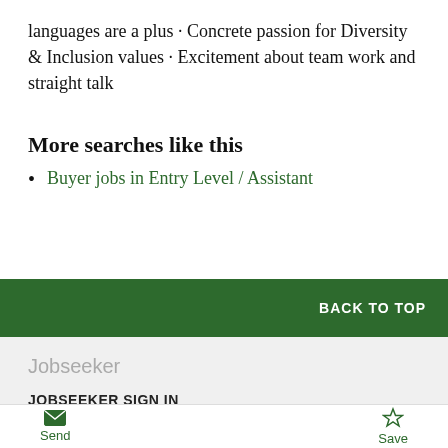languages are a plus · Concrete passion for Diversity & Inclusion values · Excitement about team work and straight talk
More searches like this
Buyer jobs in Entry Level / Assistant
BACK TO TOP
Jobseeker
JOBSEEKER SIGN IN
FIND A JOB